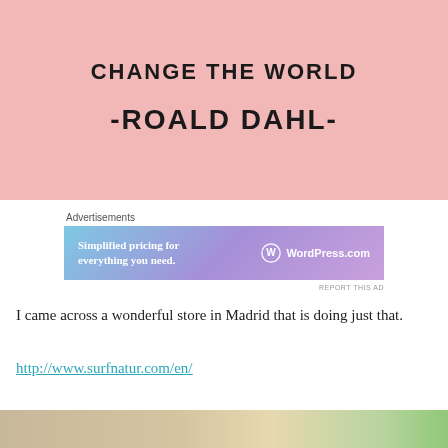[Figure (illustration): Pink background quote card with text 'CHANGE THE WORLD' and '-ROALD DAHL-' in bold uppercase black letters]
Advertisements
[Figure (screenshot): WordPress.com advertisement banner with gradient blue-purple background, text 'Simplified pricing for everything you need.' and WordPress.com logo]
REPORT THIS AD
I came across a wonderful store in Madrid that is doing just that.
http://www.surfnatur.com/en/
[Figure (photo): Bottom portion of an outdoor photo showing ground and greenery]